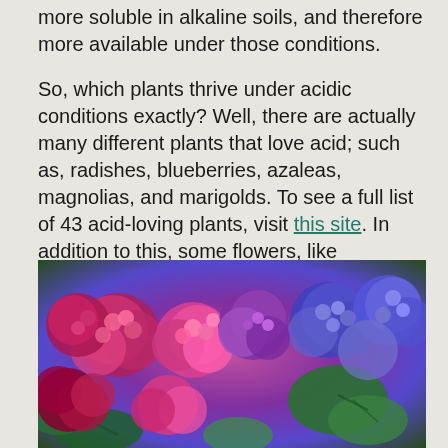more soluble in alkaline soils, and therefore more available under those conditions.
So, which plants thrive under acidic conditions exactly? Well, there are actually many different plants that love acid; such as, radishes, blueberries, azaleas, magnolias, and marigolds. To see a full list of 43 acid-loving plants, visit this site. In addition to this, some flowers, like hydrangeas, change color depending on soil pH!
[Figure (photo): A photograph of hydrangea flowers in shades of pink, purple, red, and blue, with green leaves visible among the blooms.]